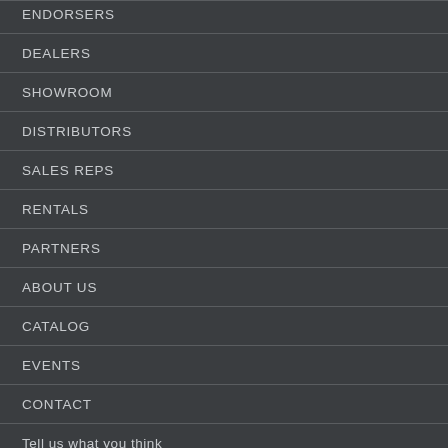ENDORSERS
DEALERS
SHOWROOM
DISTRIBUTORS
SALES REPS
RENTALS
PARTNERS
ABOUT US
CATALOG
EVENTS
CONTACT
Tell us what you think